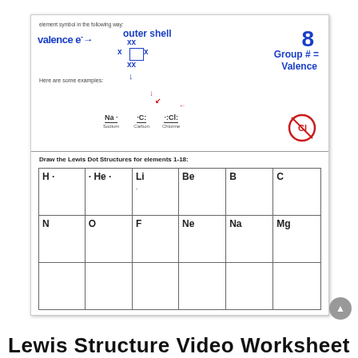element symbol in the following way:
[Figure (illustration): Handwritten chemistry notes in blue ink showing 'valence e-' with arrow pointing to 'outer shell' label, XX marks around a box symbol, and 'Group # = Valence' written in blue. In red: arrows pointing to Cl symbol and a circled element symbol.]
Here are some examples:
Na·   ·C:   ·:Cl:
Sodium  Carbon  Chlorine
Draw the Lewis Dot Structures for elements 1-18:
| H· | ·He· | Li | Be | B | C |
| --- | --- | --- | --- | --- | --- |
| H· | ·He· | Li | Be | B | C |
| N | O | F | Ne | Na | Mg |
|  |  |  |  |  |  |
Lewis Structure Video Worksheet